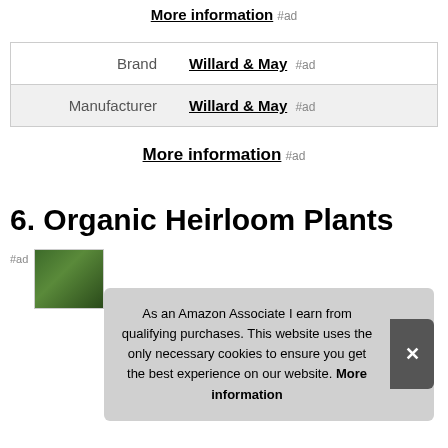More information #ad
| Brand | Willard & May #ad |
| Manufacturer | Willard & May #ad |
More information #ad
6. Organic Heirloom Plants
#ad
[Figure (photo): Product image of organic heirloom plants showing green plant leaves]
As an Amazon Associate I earn from qualifying purchases. This website uses the only necessary cookies to ensure you get the best experience on our website. More information